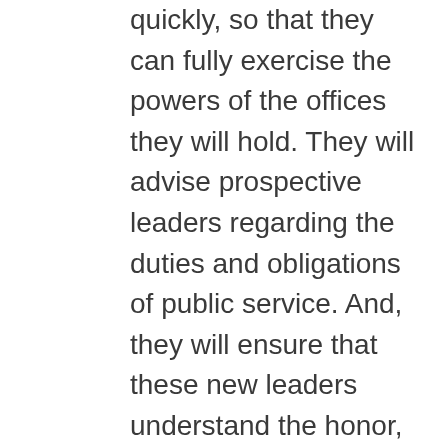quickly, so that they can fully exercise the powers of the offices they will hold. They will advise prospective leaders regarding the duties and obligations of public service. And, they will ensure that these new leaders understand the honor, privilege, and gravity of serving our nation, and will help them in their pursuit of our common duty: to serve the interests of our fellow citizens.

The ethics community is resolute in our commitment to an efficient transfer of power, our commitment to good government, and our commitment to